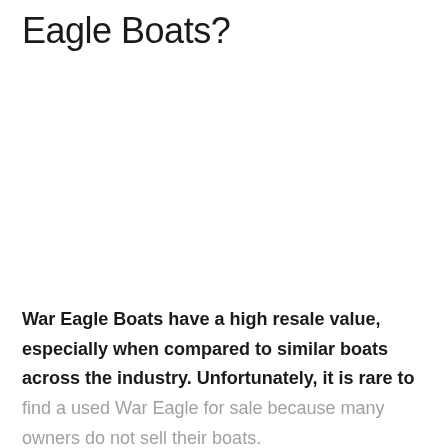Eagle Boats?
War Eagle Boats have a high resale value, especially when compared to similar boats across the industry. Unfortunately, it is rare to find a used War Eagle for sale because many owners do not sell their boats.